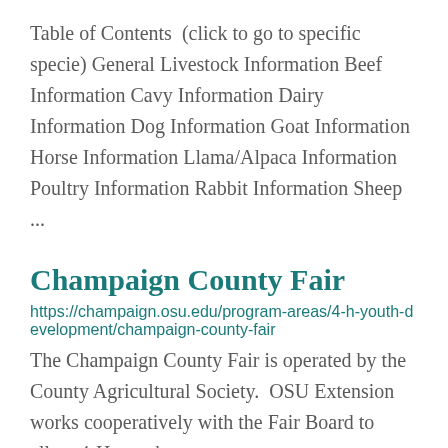Table of Contents  (click to go to specific specie) General Livestock Information Beef Information Cavy Information Dairy Information Dog Information Goat Information Horse Information Llama/Alpaca Information Poultry Information Rabbit Information Sheep ...
Champaign County Fair
https://champaign.osu.edu/program-areas/4-h-youth-development/champaign-county-fair
The Champaign County Fair is operated by the County Agricultural Society.  OSU Extension works cooperatively with the Fair Board to allow 4-H members to